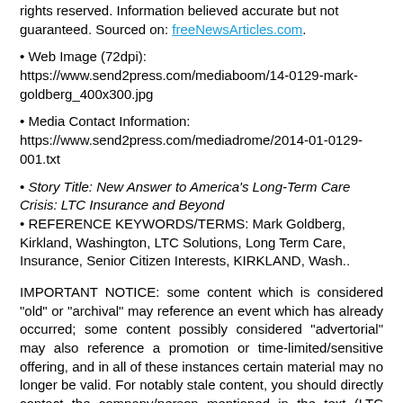rights reserved. Information believed accurate but not guaranteed. Sourced on: freeNewsArticles.com.
Web Image (72dpi): https://www.send2press.com/mediaboom/14-0129-mark-goldberg_400x300.jpg
Media Contact Information: https://www.send2press.com/mediadrome/2014-01-0129-001.txt
Story Title: New Answer to America's Long-Term Care Crisis: LTC Insurance and Beyond
REFERENCE KEYWORDS/TERMS: Mark Goldberg, Kirkland, Washington, LTC Solutions, Long Term Care, Insurance, Senior Citizen Interests, KIRKLAND, Wash..
IMPORTANT NOTICE: some content which is considered "old" or "archival" may reference an event which has already occurred; some content possibly considered "advertorial" may also reference a promotion or time-limited/sensitive offering, and in all of these instances certain material may no longer be valid. For notably stale content, you should directly contact the company/person mentioned in the text (LTC Financial Partners, LLC); this site cannot assist you with information about products/services mentioned in the news article, nor handle any complaints or other issues related to any